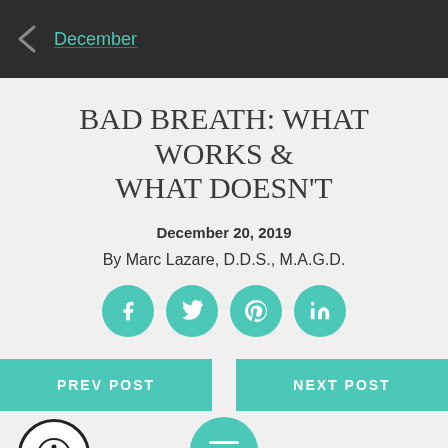December
BAD BREATH: WHAT WORKS & WHAT DOESN'T
December 20, 2019
By Marc Lazare, D.D.S., M.A.G.D.
[Figure (infographic): Social media sharing icons: Facebook, Twitter, Pinterest, LinkedIn — teal circular buttons]
PREV POST
NEXT POST
[Figure (infographic): Accessibility icon (person in circle) and hamburger menu pill button in teal]
We all know th...